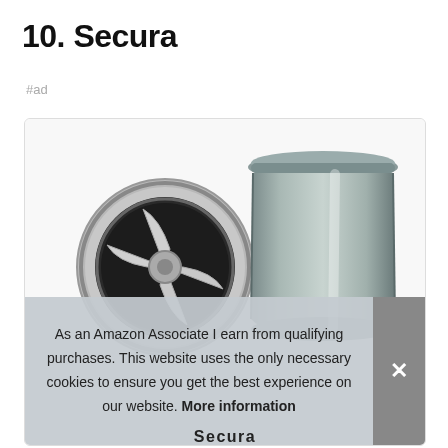10. Secura
#ad
[Figure (photo): Product photo of a Secura blender/grinder showing a stainless steel blade assembly viewed from below on the left, and the cylindrical stainless steel cup/container upright on the right, both on a white background. A cookie consent banner overlays the bottom of the image with text and a close button. At the very bottom a partial 'Secura' brand name is visible.]
As an Amazon Associate I earn from qualifying purchases. This website uses the only necessary cookies to ensure you get the best experience on our website. More information